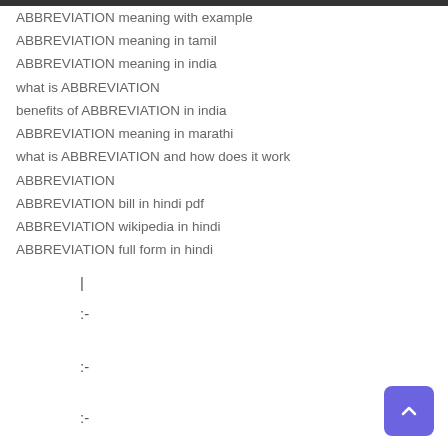ABBREVIATION meaning with example
ABBREVIATION meaning in tamil
ABBREVIATION meaning in india
what is ABBREVIATION
benefits of ABBREVIATION in india
ABBREVIATION meaning in marathi
what is ABBREVIATION and how does it work
ABBREVIATION
ABBREVIATION bill in hindi pdf
ABBREVIATION wikipedia in hindi
ABBREVIATION full form in hindi
| :– :– :–